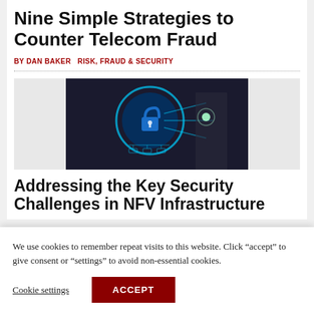Nine Simple Strategies to Counter Telecom Fraud
BY DAN BAKER  RISK, FRAUD & SECURITY
[Figure (photo): A person in a business suit touching a glowing digital lock/security icon interface]
Addressing the Key Security Challenges in NFV Infrastructure
We use cookies to remember repeat visits to this website. Click “accept” to give consent or “settings” to avoid non-essential cookies.
Cookie settings  ACCEPT